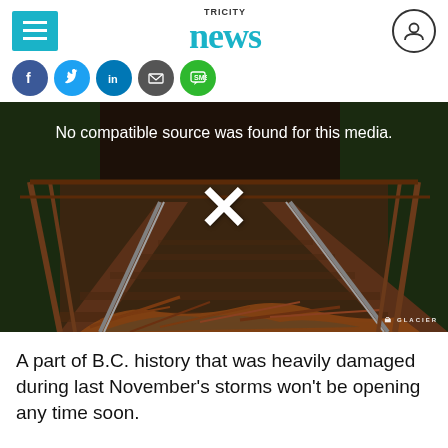TRICITY news
[Figure (screenshot): Social media share icons: Facebook, Twitter, LinkedIn, Email, SMS]
[Figure (photo): Video player showing damaged railway tracks with debris, displaying error message 'No compatible source was found for this media.' and a large X icon. Glacier watermark in bottom right.]
A part of B.C. history that was heavily damaged during last November's storms won't be opening any time soon.